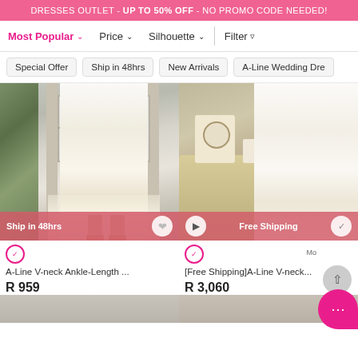DRESSES OUTLET - UP TO 50% OFF - NO PROMO CODE NEEDED!
Most Popular ∨   Price ∨   Silhouette ∨   Filter
Special Offer
Ship in 48hrs
New Arrivals
A-Line Wedding Dre
[Figure (photo): White lace A-line dress on model, outdoor setting with white door]
[Figure (photo): White chiffon A-line V-neck dress on model, indoor setting with clock and dresser]
A-Line V-neck Ankle-Length ...
R 959
[Free Shipping]A-Line V-neck...
R 3,060